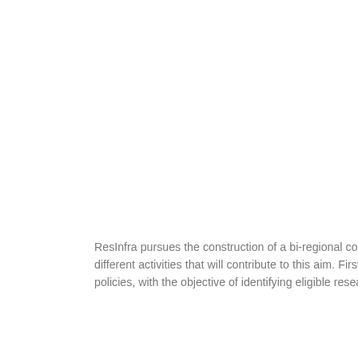ResInfra pursues the construction of a bi-regional collaboration between European Union and the LAC countries, envisaging a range of different activities that will contribute to this aim. Firstly, the project will create a map of National and Regional Research Infrastructures policies, with the objective of identifying eligible research